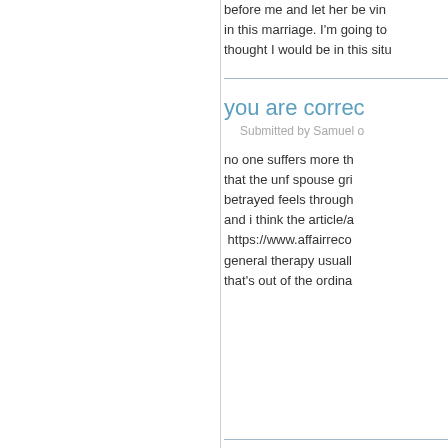before me and let her be vin... in this marriage. I'm going to... thought I would be in this situ...
you are correc...
Submitted by Samuel o...
no one suffers more th... that the unf spouse gri... betrayed feels through... and i think the article/a...  https://www.affairreco... general therapy usuall... that's out of the ordina...